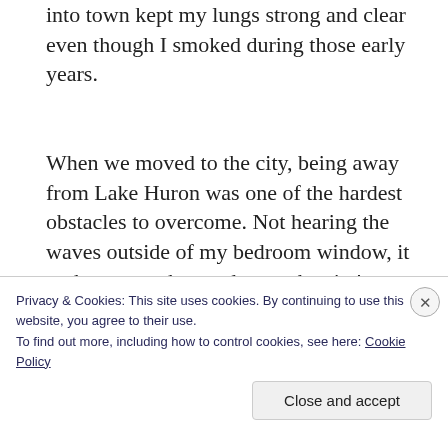into town kept my lungs strong and clear even though I smoked during those early years.
When we moved to the city, being away from Lake Huron was one of the hardest obstacles to overcome. Not hearing the waves outside of my bedroom window, it took me months to adapt to the city's night sounds. Along with participating in
Privacy & Cookies: This site uses cookies. By continuing to use this website, you agree to their use.
To find out more, including how to control cookies, see here: Cookie Policy